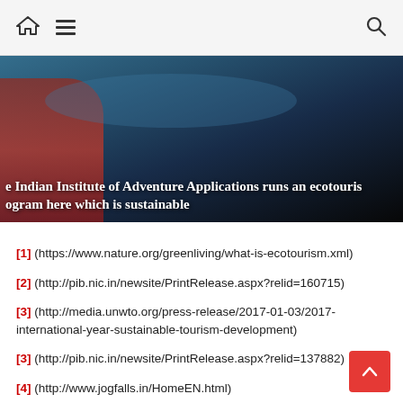Home / Menu / Search
[Figure (photo): Photo of people on a boat with text overlay: 'e Indian Institute of Adventure Applications runs an ecotouris ogram here which is sustainable']
[1] (https://www.nature.org/greenliving/what-is-ecotourism.xml)
[2] (http://pib.nic.in/newsite/PrintRelease.aspx?relid=160715)
[3] (http://media.unwto.org/press-release/2017-01-03/2017-international-year-sustainable-tourism-development)
[3] (http://pib.nic.in/newsite/PrintRelease.aspx?relid=137882)
[4] (http://www.jogfalls.in/HomeEN.html)